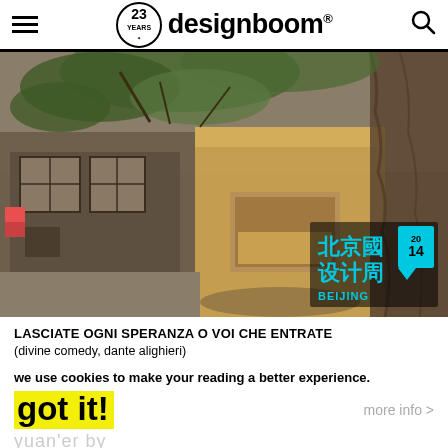designboom® — 23 YEARS
[Figure (photo): Aerial/overhead view of a wooden box-like structure (small pavilion/installation) built around a large tree trunk, situated in a traditional hutong alleyway in Beijing. Old brick buildings with wooden windows visible. Green tree foliage overhead. Beijing International Design Week 2014 logo overlay in bottom-right corner.]
LASCIATE OGNI SPERANZA O VOI CHE ENTRATE
(divine comedy, dante alighieri)
we use cookies to make your reading a better experience.
got it!
more info >
yuan'er by